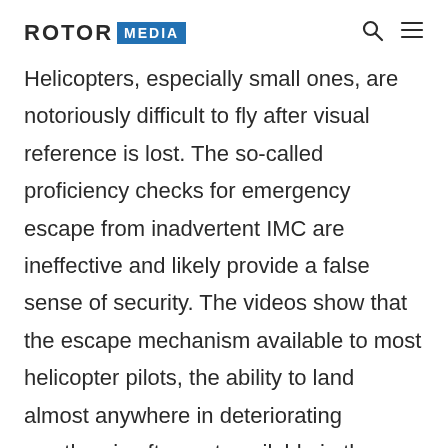ROTOR MEDIA
Helicopters, especially small ones, are notoriously difficult to fly after visual reference is lost. The so-called proficiency checks for emergency escape from inadvertent IMC are ineffective and likely provide a false sense of security. The videos show that the escape mechanism available to most helicopter pilots, the ability to land almost anywhere in deteriorating weather, is often not available in the Waimea Canyon and the northern part of Kauai. The terrain is rugged and covered with trees that make